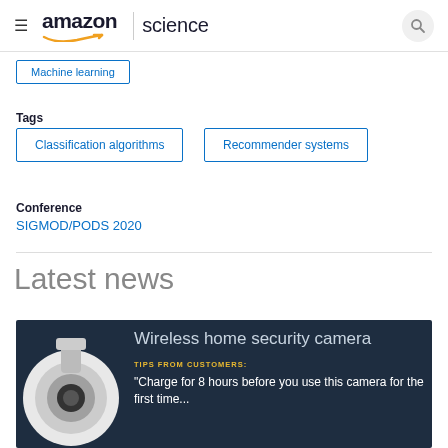amazon | science
Machine learning
Tags
Classification algorithms
Recommender systems
Conference
SIGMOD/PODS 2020
Latest news
[Figure (photo): News card showing a wireless home security camera with text: 'Wireless home security camera' and 'TIPS FROM CUSTOMERS: "Charge for 8 hours before you use this...']